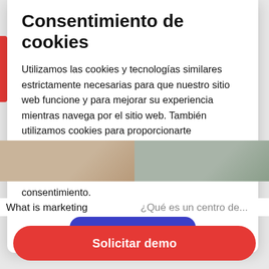Consentimiento de cookies
Utilizamos las cookies y tecnologías similares estrictamente necesarias para que nuestro sitio web funcione y para mejorar su experiencia mientras navega por el sitio web. También utilizamos cookies para proporcionarte información relevante a sus búsquedas en nuestros sitios web y en otros. Las cookies adicionales se utilizan solamente con su consentimiento.
[Figure (screenshot): Partially visible blue accept button at bottom of cookie consent modal]
[Figure (photo): Two article card images side by side: left shows a brownish floor/object photo, right shows a textured grey surface photo]
What is marketing
¿Qué es un centro de...
Solicitar demo